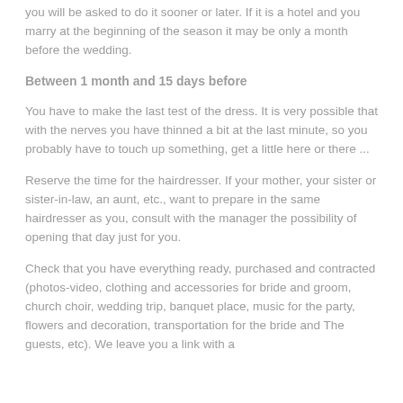you will be asked to do it sooner or later. If it is a hotel and you marry at the beginning of the season it may be only a month before the wedding.
Between 1 month and 15 days before
You have to make the last test of the dress. It is very possible that with the nerves you have thinned a bit at the last minute, so you probably have to touch up something, get a little here or there ...
Reserve the time for the hairdresser. If your mother, your sister or sister-in-law, an aunt, etc., want to prepare in the same hairdresser as you, consult with the manager the possibility of opening that day just for you.
Check that you have everything ready, purchased and contracted (photos-video, clothing and accessories for bride and groom, church choir, wedding trip, banquet place, music for the party, flowers and decoration, transportation for the bride and The guests, etc). We leave you a link with a